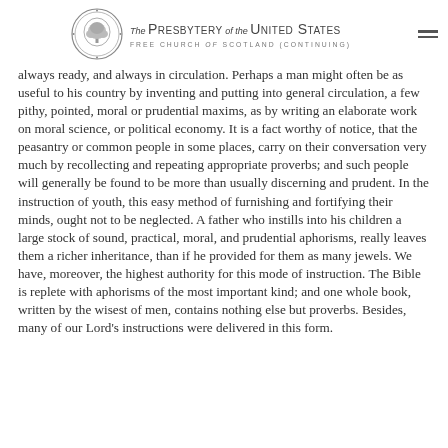The Presbytery of the United States — Free Church of Scotland (Continuing)
always ready, and always in circulation. Perhaps a man might often be as useful to his country by inventing and putting into general circulation, a few pithy, pointed, moral or prudential maxims, as by writing an elaborate work on moral science, or political economy. It is a fact worthy of notice, that the peasantry or common people in some places, carry on their conversation very much by recollecting and repeating appropriate proverbs; and such people will generally be found to be more than usually discerning and prudent. In the instruction of youth, this easy method of furnishing and fortifying their minds, ought not to be neglected. A father who instills into his children a large stock of sound, practical, moral, and prudential aphorisms, really leaves them a richer inheritance, than if he provided for them as many jewels. We have, moreover, the highest authority for this mode of instruction. The Bible is replete with aphorisms of the most important kind; and one whole book, written by the wisest of men, contains nothing else but proverbs. Besides, many of our Lord's instructions were delivered in this form.